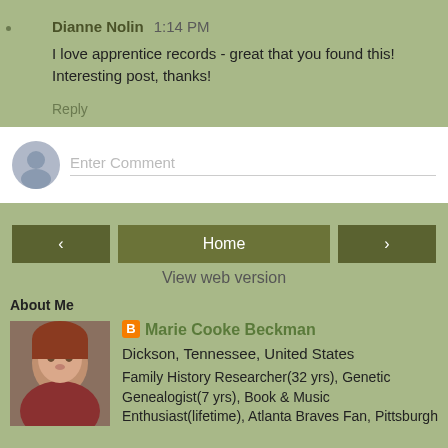Dianne Nolin  1:14 PM
I love apprentice records - great that you found this! Interesting post, thanks!
Reply
Enter Comment
Home
View web version
About Me
[Figure (photo): Profile photo of Marie Cooke Beckman]
Marie Cooke Beckman
Dickson, Tennessee, United States
Family History Researcher(32 yrs), Genetic Genealogist(7 yrs), Book & Music Enthusiast(lifetime), Atlanta Braves Fan, Pittsburgh...